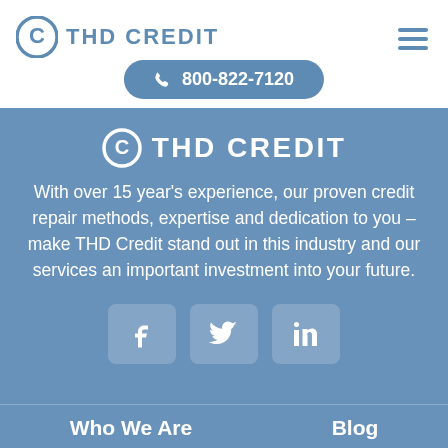THD CREDIT
800-822-7120
[Figure (logo): THD Credit logo with circular C icon and text THD CREDIT on blue background]
With over 15 year's experience, our proven credit repair methods, expertise and dedication to you – make THD Credit stand out in this industry and our services an important investment into your future.
[Figure (infographic): Social media icons: Facebook, Twitter, LinkedIn]
Who Are   Blog